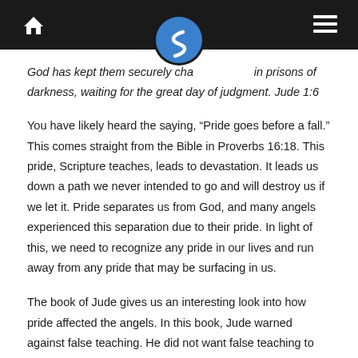Navigation header with home icon, logo, and menu icon
God has kept them securely chained in prisons of darkness, waiting for the great day of judgment. Jude 1:6
You have likely heard the saying, “Pride goes before a fall.” This comes straight from the Bible in Proverbs 16:18. This pride, Scripture teaches, leads to devastation. It leads us down a path we never intended to go and will destroy us if we let it. Pride separates us from God, and many angels experienced this separation due to their pride. In light of this, we need to recognize any pride in our lives and run away from any pride that may be surfacing in us.
The book of Jude gives us an interesting look into how pride affected the angels. In this book, Jude warned against false teaching. He did not want false teaching to lead God’s people astray. As he talked about...